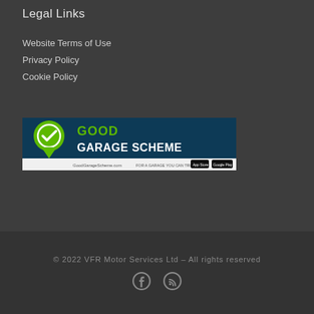Legal Links
Website Terms of Use
Privacy Policy
Cookie Policy
[Figure (logo): Good Garage Scheme logo banner with green checkmark icon, dark blue background, text 'GOOD GARAGE SCHEME', tagline 'FOR A GARAGE YOU CAN TRUST', GoodGarageScheme.com, and app store badges]
© 2022 VFR Motor Services Ltd – All rights reserved
[Figure (other): Facebook and RSS social media icons in footer]